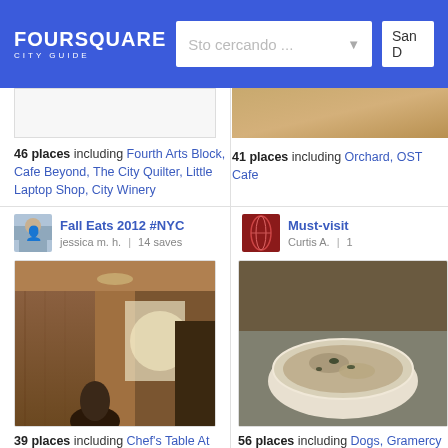[Figure (screenshot): Foursquare City Guide header with logo, search bar 'Sto cercando ...' and location field 'San D']
[Figure (screenshot): Card image placeholder top left]
46 places including Fourth Arts Block, Cafe Beyond, The City Quilter, Little Laptop Shop, City Winery
[Figure (photo): Food/restaurant image top right (cropped, brownish tones)]
41 places including Orchard, OST Cafe
[Figure (photo): Avatar photo of jessica m. h.]
Fall Eats 2012 #NYC
jessica m. h.  |  14 saves
[Figure (photo): Interior restaurant photo, warm sepia tones, person visible, chandelier]
39 places including Chef's Table At Brooklyn Fare, Marble Lane at Dream Downtown, Via
[Figure (photo): Dark red DNA/helix avatar image for Curtis A.]
Must-visit
Curtis A.  |  1
[Figure (photo): Bowl of food, risotto or pasta dish, top right photo]
56 places including Dogs, Gramercy Ta